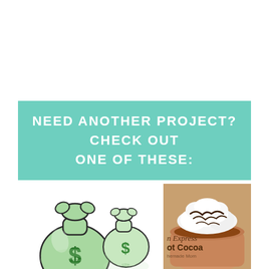NEED ANOTHER PROJECT? CHECK OUT ONE OF THESE:
[Figure (illustration): Two green money bags with dollar signs, illustrated cartoon style with reflection below]
[Figure (photo): Hot cocoa in a mug topped with whipped cream and chocolate drizzle, with text overlay reading 'n Express Hot Cocoa Homemade Mom']